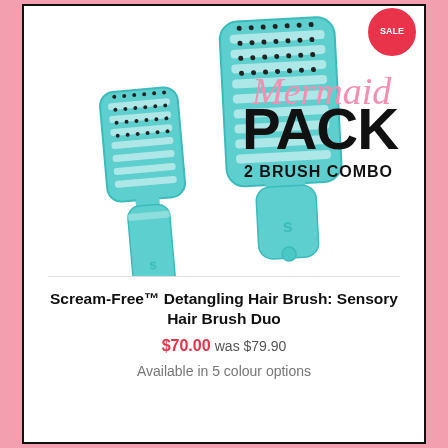[Figure (photo): Two teal/aqua Scream-Free detangling hair brushes (one large paddle style with vented design, one smaller) shown against white background with 'Mermaid PACK 2 BRUSH COMBO' text overlay and a red sale badge in top right corner.]
Scream-Free™ Detangling Hair Brush: Sensory Hair Brush Duo
$70.00 was $79.90
Available in 5 colour options